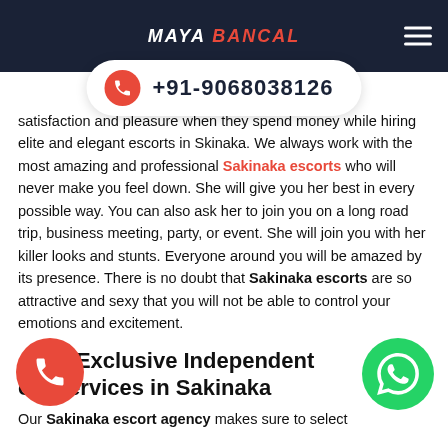MAYA BANCAL
+91-9068038126
satisfaction and pleasure when they spend money while hiring elite and elegant escorts in Skinaka. We always work with the most amazing and professional Sakinaka escorts who will never make you feel down. She will give you her best in every possible way. You can also ask her to join you on a long road trip, business meeting, party, or event. She will join you with her killer looks and stunts. Everyone around you will be amazed by its presence. There is no doubt that Sakinaka escorts are so attractive and sexy that you will not be able to control your emotions and excitement.
Avail Exclusive Independent Escort Services in Sakinaka
Our Sakinaka escort agency makes sure to select